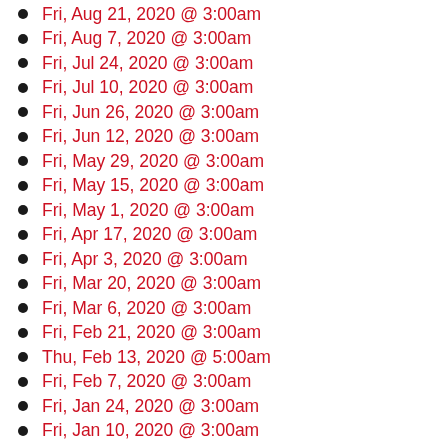Fri, Aug 21, 2020 @ 3:00am
Fri, Aug 7, 2020 @ 3:00am
Fri, Jul 24, 2020 @ 3:00am
Fri, Jul 10, 2020 @ 3:00am
Fri, Jun 26, 2020 @ 3:00am
Fri, Jun 12, 2020 @ 3:00am
Fri, May 29, 2020 @ 3:00am
Fri, May 15, 2020 @ 3:00am
Fri, May 1, 2020 @ 3:00am
Fri, Apr 17, 2020 @ 3:00am
Fri, Apr 3, 2020 @ 3:00am
Fri, Mar 20, 2020 @ 3:00am
Fri, Mar 6, 2020 @ 3:00am
Fri, Feb 21, 2020 @ 3:00am
Thu, Feb 13, 2020 @ 5:00am
Fri, Feb 7, 2020 @ 3:00am
Fri, Jan 24, 2020 @ 3:00am
Fri, Jan 10, 2020 @ 3:00am